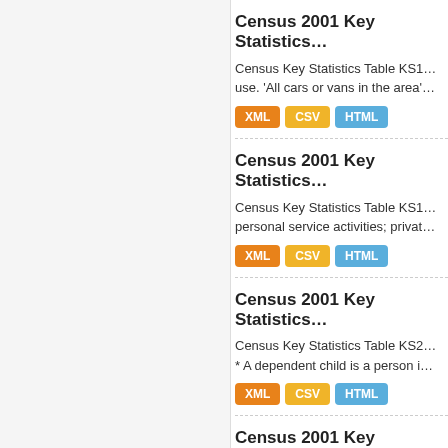Census 2001 Key Statistics...
Census Key Statistics Table KS1... use. 'All cars or vans in the area'...
XML  CSV  HTML
Census 2001 Key Statistics...
Census Key Statistics Table KS1... personal service activities; privat...
XML  CSV  HTML
Census 2001 Key Statistics...
Census Key Statistics Table KS2... * A dependent child is a person i...
XML  CSV  HTML
Census 2001 Key Statistics...
Census Key Statistics Table KS2...